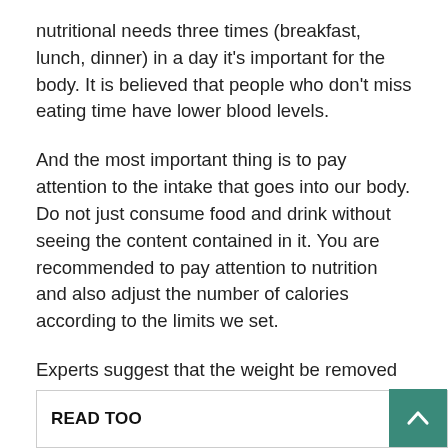nutritional needs three times (breakfast, lunch, dinner) in a day it's important for the body. It is believed that people who don't miss eating time have lower blood levels.
And the most important thing is to pay attention to the intake that goes into our body. Do not just consume food and drink without seeing the content contained in it. You are recommended to pay attention to nutrition and also adjust the number of calories according to the limits we set.
Experts suggest that the weight be removed by only 0.5 kg to 1 kg a week. We can start by cutting calorie intake by as much as 500 calories per day. For example, if we usually consume 2500 calories, this number can be reduced to 2000 calories.
READ TOO